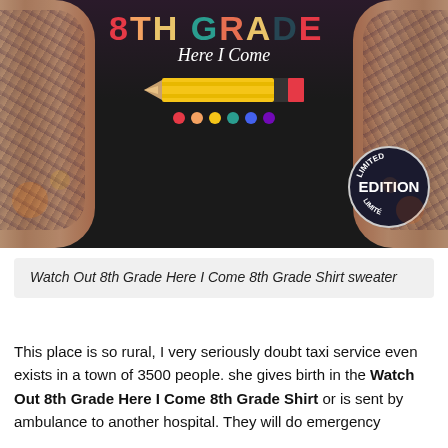[Figure (photo): A person wearing a black t-shirt with a colorful '8th Grade Here I Come' graphic featuring a pencil and colored dots, with tattoo-covered arms visible on both sides. A 'Limited Edition' stamp badge is visible on the lower right of the shirt.]
Watch Out 8th Grade Here I Come 8th Grade Shirt sweater
This place is so rural, I very seriously doubt taxi service even exists in a town of 3500 people. she gives birth in the Watch Out 8th Grade Here I Come 8th Grade Shirt or is sent by ambulance to another hospital. They will do emergency